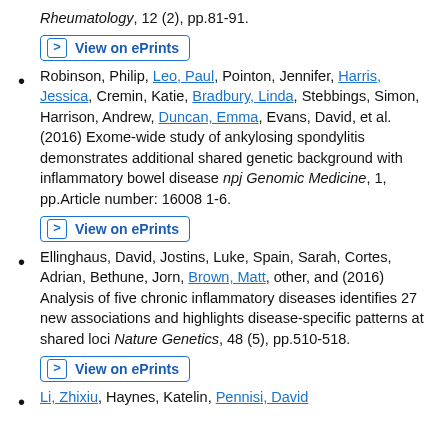Rheumatology, 12 (2), pp.81-91.
View on ePrints
Robinson, Philip, Leo, Paul, Pointon, Jennifer, Harris, Jessica, Cremin, Katie, Bradbury, Linda, Stebbings, Simon, Harrison, Andrew, Duncan, Emma, Evans, David, et al. (2016) Exome-wide study of ankylosing spondylitis demonstrates additional shared genetic background with inflammatory bowel disease npj Genomic Medicine, 1, pp.Article number: 16008 1-6.
View on ePrints
Ellinghaus, David, Jostins, Luke, Spain, Sarah, Cortes, Adrian, Bethune, Jorn, Brown, Matt, other, and (2016) Analysis of five chronic inflammatory diseases identifies 27 new associations and highlights disease-specific patterns at shared loci Nature Genetics, 48 (5), pp.510-518.
View on ePrints
Li, Zhixiu, Haynes, Katelin, Pennisi, David